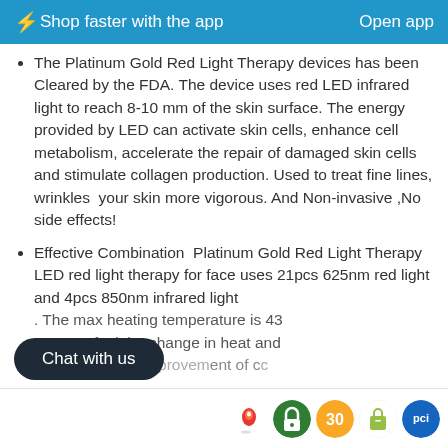⚡Shop faster with the app   Open app
The Platinum Gold Red Light Therapy devices has been Cleared by the FDA. The device uses red LED infrared light to reach 8-10 mm of the skin surface. The energy provided by LED can activate skin cells, enhance cell metabolism, accelerate the repair of damaged skin cells and stimulate collagen production. Used to treat fine lines, wrinkles  your skin more vigorous. And Non-invasive ,No side effects!
Effective Combination  Platinum Gold Red Light Therapy LED red light therapy for face uses 21pcs 625nm red light and 4pcs 850nm infrared light . The max heating temperature is 43 You can feel the change in heat and understand the improvement of circulation.